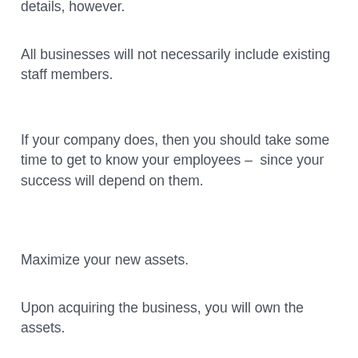details, however.
All businesses will not necessarily include existing staff members.
If your company does, then you should take some time to get to know your employees –  since your success will depend on them.
Maximize your new assets.
Upon acquiring the business, you will own the assets.
This can be used to your advantage in advance. You may be able to get financing for assets you want to